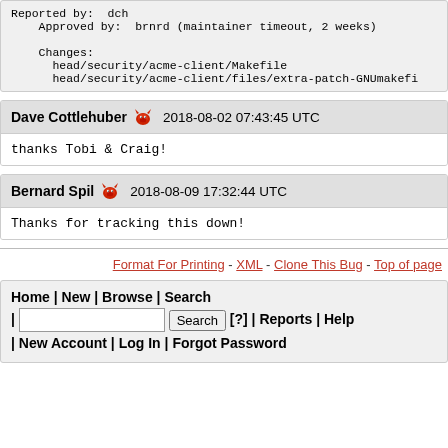Reported by:  dch
    Approved by:  brnrd (maintainer timeout, 2 weeks)

    Changes:
      head/security/acme-client/Makefile
      head/security/acme-client/files/extra-patch-GNUmakefi
Dave Cottlehuber  2018-08-02 07:43:45 UTC
thanks Tobi & Craig!
Bernard Spil  2018-08-09 17:32:44 UTC
Thanks for tracking this down!
Format For Printing - XML - Clone This Bug - Top of page
Home | New | Browse | Search | Search [?] | Reports | Help | New Account | Log In | Forgot Password